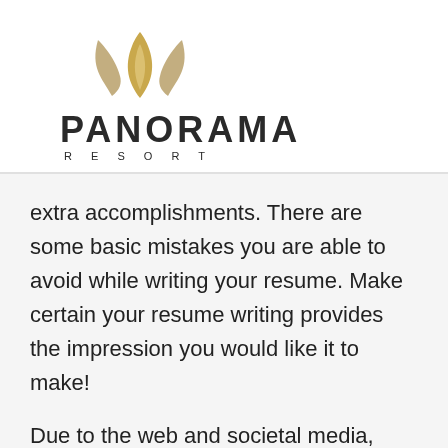[Figure (logo): Panorama Resort logo with golden leaf/flame icon above the text PANORAMA in large letters and RESORT in smaller spaced letters below]
extra accomplishments. There are some basic mistakes you are able to avoid while writing your resume. Make certain your resume writing provides the impression you would like it to make!
Due to the web and societal media, now it's simpler than ever before to promote yourself and your skills, in a manner which will help you tremendously enhance you career. Resume writing is the most